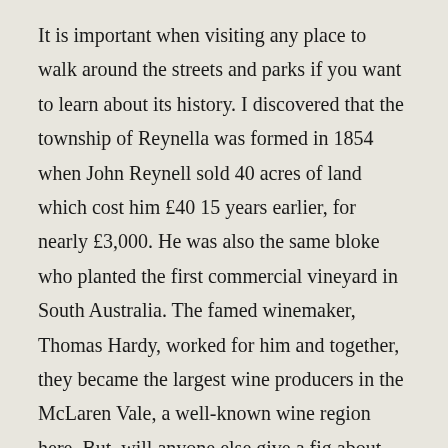It is important when visiting any place to walk around the streets and parks if you want to learn about its history. I discovered that the township of Reynella was formed in 1854 when John Reynell sold 40 acres of land which cost him £40 15 years earlier, for nearly £3,000. He was also the same bloke who planted the first commercial vineyard in South Australia. The famed winemaker, Thomas Hardy, worked for him and together, they became the largest wine producers in the McLaren Vale, a well-known wine region here. But, will anyone else give a fig about John Reynell? I don't think so. This morning, we came across a fascinating high-end boutique store called Woolcock. The name itself fascinates me. I mean, how and where does a name like that originate from? The store proudly sells classy and